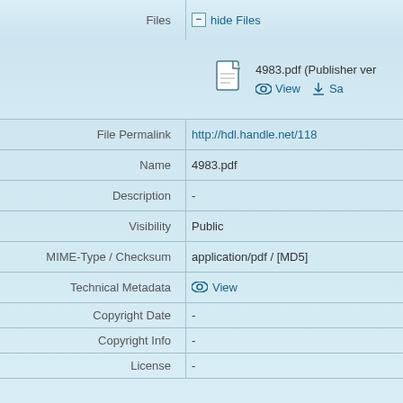Files | hide Files
[Figure (screenshot): Document file icon for 4983.pdf with View and Save actions]
| Field | Value |
| --- | --- |
| File Permalink | http://hdl.handle.net/118... |
| Name | 4983.pdf |
| Description | - |
| Visibility | Public |
| MIME-Type / Checksum | application/pdf / [MD5] |
| Technical Metadata | View |
| Copyright Date | - |
| Copyright Info | - |
| License | - |
Locators | show
Creators | hide
| Field | Value |
| --- | --- |
| Creators | Probst, Rafael A.1, Author
Wang, L.2, Author
Doerr, H.-P.2, Author
Steinmetz, T.2, Author
Kentischer, T.J.2, Author |